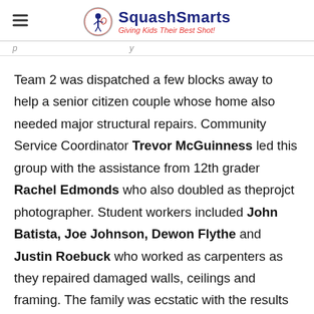SquashSmarts — Giving Kids Their Best Shot!
Team 2 was dispatched a few blocks away to help a senior citizen couple whose home also needed major structural repairs. Community Service Coordinator Trevor McGuinness led this group with the assistance from 12th grader Rachel Edmonds who also doubled as theprojct photographer. Student workers included John Batista, Joe Johnson, Dewon Flythe and Justin Roebuck who worked as carpenters as they repaired damaged walls, ceilings and framing. The family was ecstatic with the results and expressed their gratitude that an organized group of